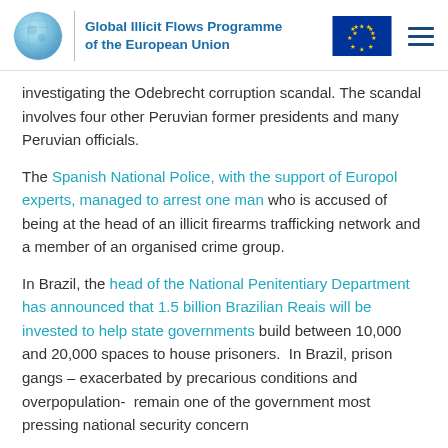Global Illicit Flows Programme of the European Union
investigating the Odebrecht corruption scandal. The scandal involves four other Peruvian former presidents and many Peruvian officials.
The Spanish National Police, with the support of Europol experts, managed to arrest one man who is accused of being at the head of an illicit firearms trafficking network and a member of an organised crime group.
In Brazil, the head of the National Penitentiary Department has announced that 1.5 billion Brazilian Reais will be invested to help state governments build between 10,000 and 20,000 spaces to house prisoners. In Brazil, prison gangs – exacerbated by precarious conditions and overpopulation- remain one of the government most pressing national security concern